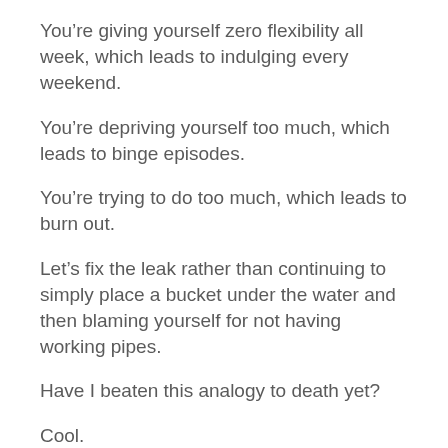You’re giving yourself zero flexibility all week, which leads to indulging every weekend.
You’re depriving yourself too much, which leads to binge episodes.
You’re trying to do too much, which leads to burn out.
Let’s fix the leak rather than continuing to simply place a bucket under the water and then blaming yourself for not having working pipes.
Have I beaten this analogy to death yet?
Cool.
Hopefully it lands.
Because I’ve witnessed what happens when